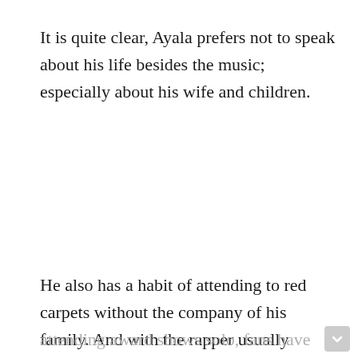It is quite clear, Ayala prefers not to speak about his life besides the music; especially about his wife and children.
He also has a habit of attending to red carpets without the company of his family. And with the rapper usually attending award shows solo, fans have often wondered